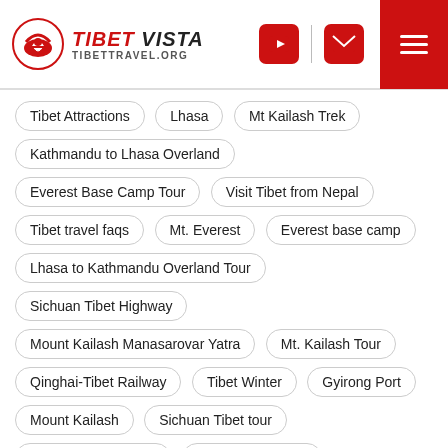Tibet Vista - TIBETTRAVEL.ORG
Tibet Attractions
Lhasa
Mt Kailash Trek
Kathmandu to Lhasa Overland
Everest Base Camp Tour
Visit Tibet from Nepal
Tibet travel faqs
Mt. Everest
Everest base camp
Lhasa to Kathmandu Overland Tour
Sichuan Tibet Highway
Mount Kailash Manasarovar Yatra
Mt. Kailash Tour
Qinghai-Tibet Railway
Tibet Winter
Gyirong Port
Mount Kailash
Sichuan Tibet tour
Mt. Kaialsh Trekking
Tibetan New Year
Tibet Trekking
Potala Palace
Saga Dawa Festival
Namtso Lake
Tibetan food
Tibet Travel Permit